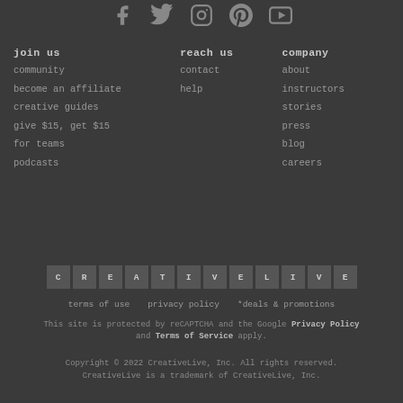[Figure (illustration): Social media icons: Facebook, Twitter, Instagram, Pinterest, YouTube]
join us
community
become an affiliate
creative guides
give $15, get $15
for teams
podcasts
reach us
contact
help
company
about
instructors
stories
press
blog
careers
[Figure (logo): CreativeLive logo rendered as individual letter tiles: C R E A T I V E L I V E]
terms of use   privacy policy   *deals & promotions
This site is protected by reCAPTCHA and the Google Privacy Policy and Terms of Service apply.
Copyright © 2022 CreativeLive, Inc. All rights reserved. CreativeLive is a trademark of CreativeLive, Inc.